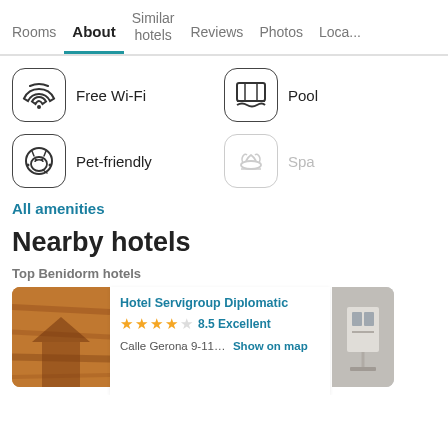Rooms | About | Similar hotels | Reviews | Photos | Loca...
Free Wi-Fi
Pool
Pet-friendly
Spa
All amenities
Nearby hotels
Top Benidorm hotels
Hotel Servigroup Diplomatic
8.5 Excellent
Calle Gerona 9-11… Show on map